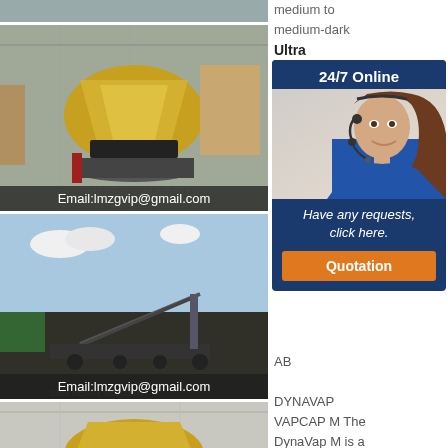[Figure (photo): Partial view of industrial machinery at top of page]
[Figure (photo): Large yellow cone crusher in warehouse/factory setting with email overlay: Email:lmzgvip@gmail.com]
[Figure (photo): Mobile crushing/conveyor equipment outdoors with email overlay: Email:lmzgvip@gmail.com]
[Figure (photo): Partial view of industrial machinery at bottom of page]
medium to medium-dark
Ultra Centrifugal Mill ZM... Rl...
The Ce... ZM... sp... wi...
Dy... Va... Va... AB... DYNAVAP VAPCAP M The DynaVap M is a medical grade stainless steel
Multi-Disciplined
[Figure (infographic): 24/7 Online popup panel with woman wearing headset and text: Have any requests, click here. Quotation button.]